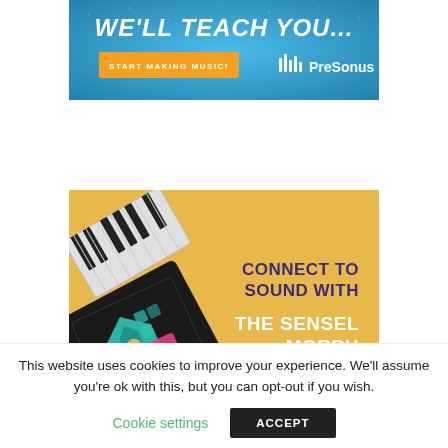[Figure (illustration): PreSonus advertisement banner with blue textured background. Large white italic text reads 'WE'LL TEACH YOU...' with an orange button 'START MAKING MUSIC!' and the PreSonus logo on the right.]
[Figure (illustration): Sensel Morph advertisement on golden/yellow background showing music controller overlays (keyboard, pads, teal geometric design, pink drum pads) on the left. Dark purple bold text on right reads 'CONNECT TO SOUND WITH' and white bold text reads 'THE SENSEL MORPH'.]
This website uses cookies to improve your experience. We'll assume you're ok with this, but you can opt-out if you wish.
Cookie settings
ACCEPT